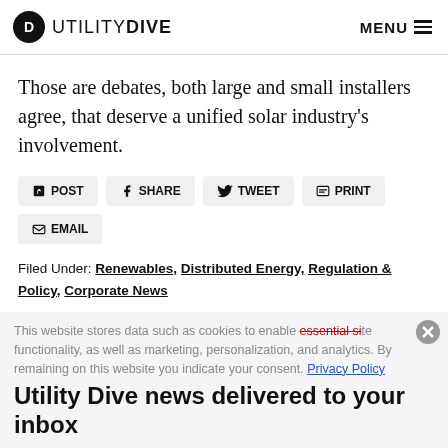UTILITY DIVE | MENU
Those are debates, both large and small installers agree, that deserve a unified solar industry’s involvement.
POST | SHARE | TWEET | PRINT | EMAIL
Filed Under: Renewables, Distributed Energy, Regulation & Policy, Corporate News
This website stores data such as cookies to enable essential site functionality, as well as marketing, personalization, and analytics. By remaining on this website you indicate your consent. Privacy Policy
Utility Dive news delivered to your inbox